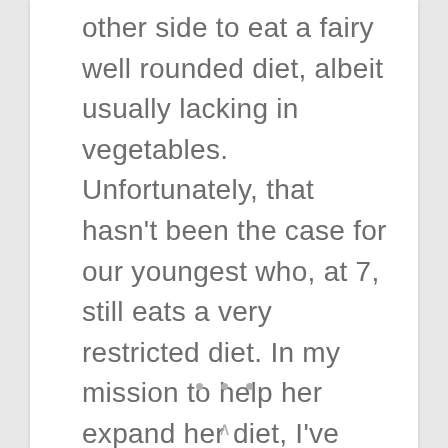other side to eat a fairy well rounded diet, albeit usually lacking in vegetables. Unfortunately, that hasn't been the case for our youngest who, at 7, still eats a very restricted diet. In my mission to help her expand her diet, I've […]